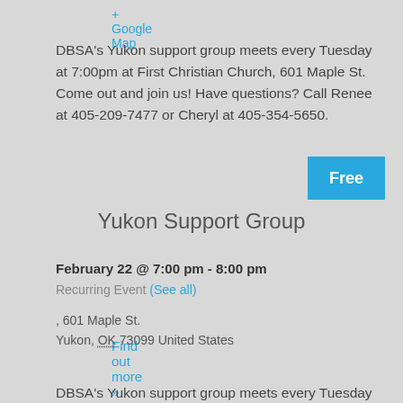+ Google Map
DBSA's Yukon support group meets every Tuesday at 7:00pm at First Christian Church, 601 Maple St. Come out and join us! Have questions? Call Renee at 405-209-7477 or Cheryl at 405-354-5650.
Find out more »
Free
Yukon Support Group
February 22 @ 7:00 pm - 8:00 pm
Recurring Event (See all)
First Christian Church Yukon, 601 Maple St.
Yukon, OK 73099 United States
+ Google Map
DBSA's Yukon support group meets every Tuesday at 7:00pm at First Christian Church, 601 Maple St.